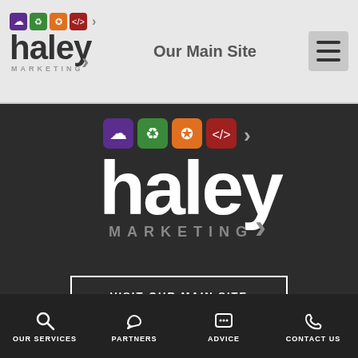[Figure (logo): Haley Marketing small logo in header]
Our Main Site
[Figure (logo): Haley Marketing large logo centered on dark background]
VISIT OUR MAIN SITE
© 2022 Haley Marketing Group
Privacy
OUR SERVICES   PARTNERS   ADVICE   CONTACT US